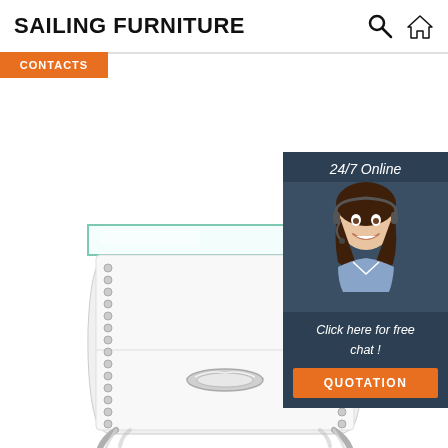SAILING FURNITURE
CONTACTS
[Figure (photo): White elegant nightstand with glass top, studded corner details, chrome curved legs, and a chrome handle on the single drawer]
[Figure (photo): Customer service agent woman with headset smiling, shown in 24/7 Online chat widget]
24/7 Online
Click here for free chat !
QUOTATION